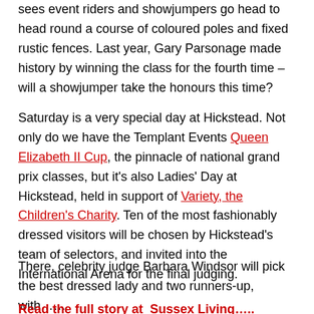sees event riders and showjumpers go head to head round a course of coloured poles and fixed rustic fences. Last year, Gary Parsonage made history by winning the class for the fourth time – will a showjumper take the honours this time?
Saturday is a very special day at Hickstead. Not only do we have the Templant Events Queen Elizabeth II Cup, the pinnacle of national grand prix classes, but it's also Ladies' Day at Hickstead, held in support of Variety, the Children's Charity. Ten of the most fashionably dressed visitors will be chosen by Hickstead's team of selectors, and invited into the International Arena for the final judging.
There, celebrity judge Barbara Windsor will pick the best dressed lady and two runners-up, with……
Read the full story at  Sussex Living…...